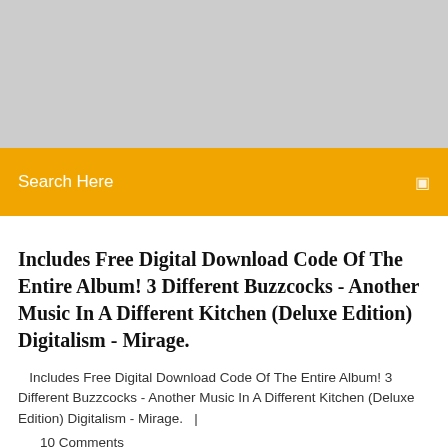[Figure (other): Gray banner/advertisement placeholder area at top of page]
Search Here
Includes Free Digital Download Code Of The Entire Album! 3 Different Buzzcocks - Another Music In A Different Kitchen (Deluxe Edition) Digitalism - Mirage.
Includes Free Digital Download Code Of The Entire Album! 3 Different Buzzcocks - Another Music In A Different Kitchen (Deluxe Edition) Digitalism - Mirage.   |
10 Comments